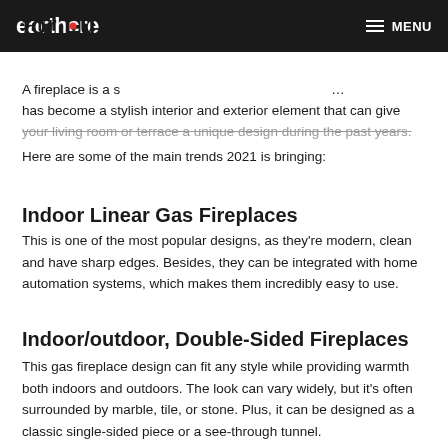earthcore — MENU
for Luxury Houses
A fireplace is a symbol of comfort, warmth, and elegance. It has become a stylish interior and exterior element that can give your living room or terrace a unique design during the past years. Here are some of the main trends 2021 is bringing:
Indoor Linear Gas Fireplaces
This is one of the most popular designs, as they're modern, clean and have sharp edges. Besides, they can be integrated with home automation systems, which makes them incredibly easy to use.
Indoor/outdoor, Double-Sided Fireplaces
This gas fireplace design can fit any style while providing warmth both indoors and outdoors. The look can vary widely, but it's often surrounded by marble, tile, or stone. Plus, it can be designed as a classic single-sided piece or a see-through tunnel.